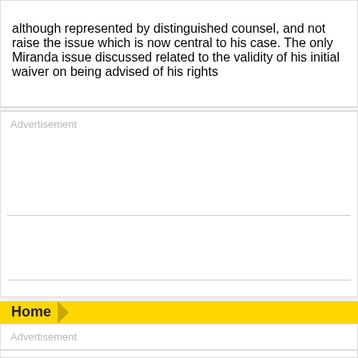although represented by distinguished counsel, and not raise the issue which is now central to his case. The only Miranda issue discussed related to the validity of his initial waiver on being advised of his rights
[Figure (other): Advertisement placeholder box with two horizontal dividing lines]
Home
[Figure (other): Advertisement placeholder box]
[Figure (other): Small advertisement placeholder box]
[Figure (other): Gray footer area]